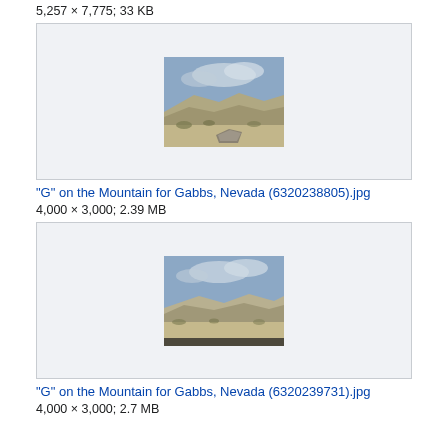5,257 × 7,775; 33 KB
[Figure (photo): Landscape photo showing desert hills and rocks with cloudy sky, thumbnail for 'G' on the Mountain for Gabbs, Nevada (6320238805).jpg]
"G" on the Mountain for Gabbs, Nevada (6320238805).jpg
4,000 × 3,000; 2.39 MB
[Figure (photo): Landscape photo showing desert hills with cloudy sky, thumbnail for 'G' on the Mountain for Gabbs, Nevada (6320239731).jpg]
"G" on the Mountain for Gabbs, Nevada (6320239731).jpg
4,000 × 3,000; 2.7 MB